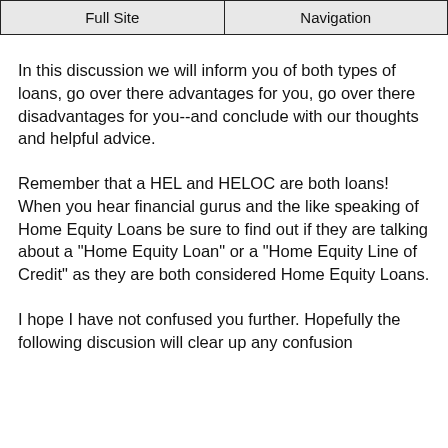Full Site | Navigation
In this discussion we will inform you of both types of loans, go over there advantages for you, go over there disadvantages for you--and conclude with our thoughts and helpful advice.
Remember that a HEL and HELOC are both loans! When you hear financial gurus and the like speaking of Home Equity Loans be sure to find out if they are talking about a "Home Equity Loan" or a "Home Equity Line of Credit" as they are both considered Home Equity Loans.
I hope I have not confused you further. Hopefully the following discusion will clear up any confusion